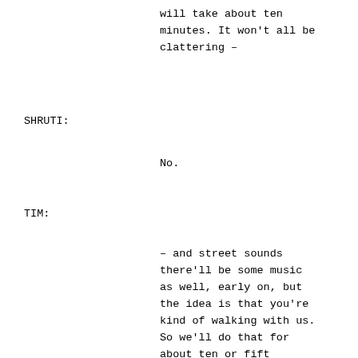will take about ten minutes. It won't all be clattering –
SHRUTI:
No.
TIM:
– and street sounds there'll be some music as well, early on, but the idea is that you're kind of walking with us. So we'll do that for about ten or fifteen